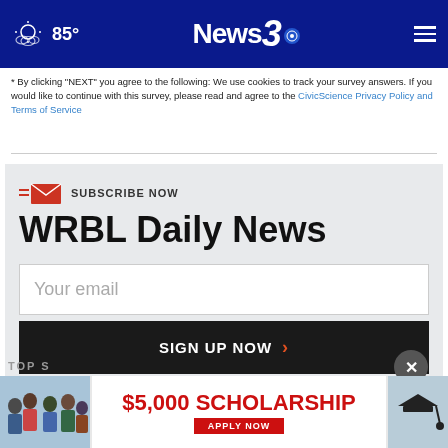85° News3
* By clicking "NEXT" you agree to the following: We use cookies to track your survey answers. If you would like to continue with this survey, please read and agree to the CivicScience Privacy Policy and Terms of Service
SUBSCRIBE NOW
WRBL Daily News
Your email
SIGN UP NOW
TOP S...
[Figure (infographic): $5,000 SCHOLARSHIP APPLY NOW banner advertisement with students photo]